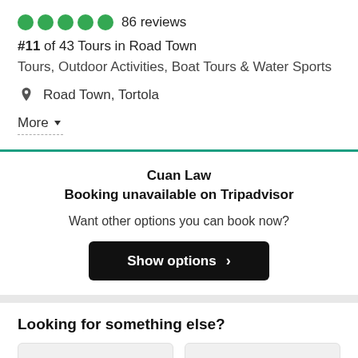86 reviews
#11 of 43 Tours in Road Town
Tours, Outdoor Activities, Boat Tours & Water Sports
Road Town, Tortola
More
Cuan Law
Booking unavailable on Tripadvisor
Want other options you can book now?
Show options
Looking for something else?